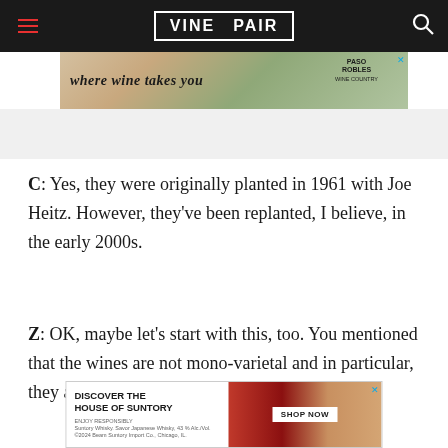VINEPAIR
[Figure (photo): Advertisement banner: 'where wine takes you' Paso Robles Wine Country]
C: Yes, they were originally planted in 1961 with Joe Heitz. However, they've been replanted, I believe, in the early 2000s.
Z: OK, maybe let's start with this, too. You mentioned that the wines are not mono-varietal and in particular, they are field blends. Now, some of ou... that the...
[Figure (photo): Advertisement: Discover the House of Suntory - Shop Now]